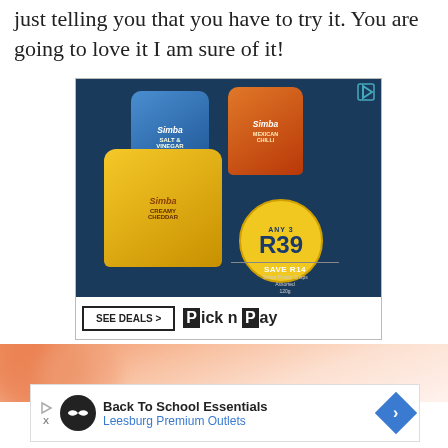just telling you that you have to try it. You are going to love it I am sure of it!
[Figure (photo): Advertisement for Simba chips showing three bags (Salt & Vinegar in blue, Mexican Chilli in orange, Creamy Cheddar in yellow), a promotional circle showing ANY 3 R39 SAVE R14, and Pick n Pay branding with SEE DEALS button.]
[Figure (photo): Blurred close-up photo of orange/pink food item, partially visible at the bottom of the page.]
[Figure (photo): Advertisement banner: Back To School Essentials - Leesburg Premium Outlets, with circular logo and arrow icon.]